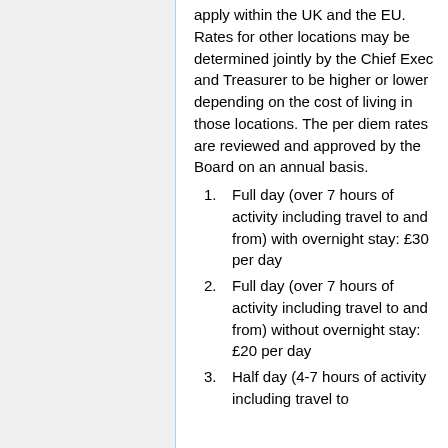apply within the UK and the EU. Rates for other locations may be determined jointly by the Chief Exec and Treasurer to be higher or lower depending on the cost of living in those locations. The per diem rates are reviewed and approved by the Board on an annual basis.
Full day (over 7 hours of activity including travel to and from) with overnight stay: £30 per day
Full day (over 7 hours of activity including travel to and from) without overnight stay: £20 per day
Half day (4-7 hours of activity including travel to